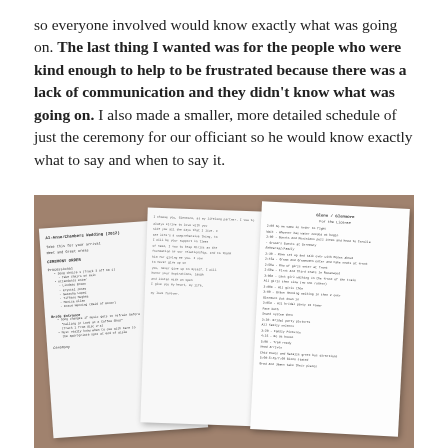so everyone involved would know exactly what was going on. The last thing I wanted was for the people who were kind enough to help to be frustrated because there was a lack of communication and they didn't know what was going on. I also made a smaller, more detailed schedule of just the ceremony for our officiant so he would know exactly what to say and when to say it.
[Figure (photo): Photo of multiple printed wedding schedule/ceremony documents laid out on a brown surface, showing handwritten and typed text on white paper pages.]